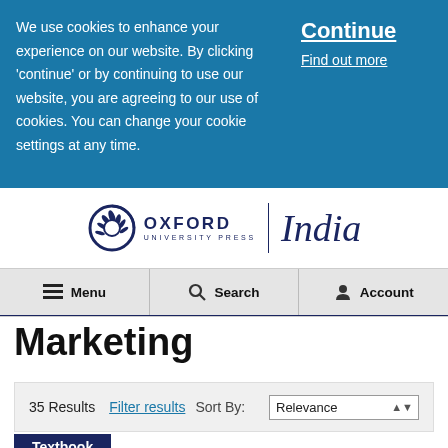We use cookies to enhance your experience on our website. By clicking 'continue' or by continuing to use our website, you are agreeing to our use of cookies. You can change your cookie settings at any time.
Continue
Find out more
[Figure (logo): Oxford University Press India logo with circular emblem and text]
Menu
Search
Account
Marketing
35 Results   Filter results   Sort By:   Relevance
Textbook